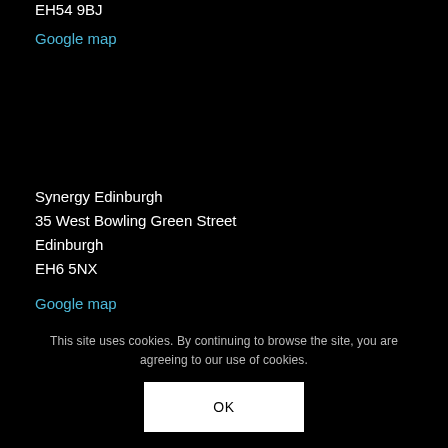EH54 9BJ
Google map
Synergy Edinburgh
35 West Bowling Green Street
Edinburgh
EH6 5NX
Google map
This site uses cookies. By continuing to browse the site, you are agreeing to our use of cookies.
OK